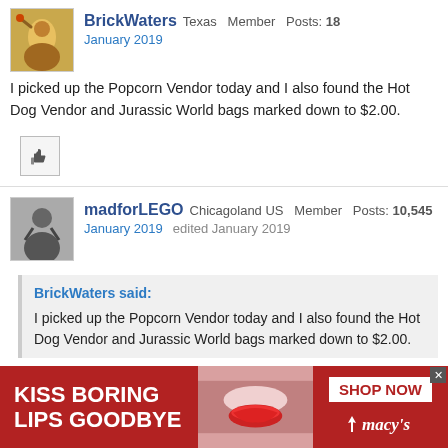BrickWaters Texas Member Posts: 18
January 2019
I picked up the Popcorn Vendor today and I also found the Hot Dog Vendor and Jurassic World bags marked down to $2.00.
[Figure (illustration): Thumbs up like icon button]
madforLEGO Chicagoland US Member Posts: 10,545
January 2019  edited January 2019
BrickWaters said:
I picked up the Popcorn Vendor today and I also found the Hot Dog Vendor and Jurassic World bags marked down to $2.00.
YEah unfortunately I think all of the hot dog vendor bags are gone in most, if not all, of the Walmarts I have gone to.
So, are the #30529 Emmet polys only available in certain areas of the US? I
[Figure (photo): Macy's advertisement: KISS BORING LIPS GOODBYE, SHOP NOW, macy's logo with star]